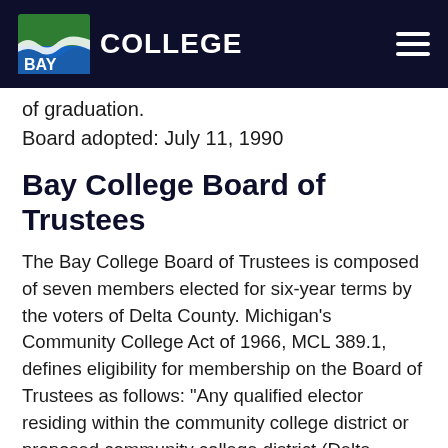Bay College
of graduation.
Board adopted: July 11, 1990
Bay College Board of Trustees
The Bay College Board of Trustees is composed of seven members elected for six-year terms by the voters of Delta County. Michigan's Community College Act of 1966, MCL 389.1, defines eligibility for membership on the Board of Trustees as follows: “Any qualified elector residing within the community college district or proposed community college district (Delta